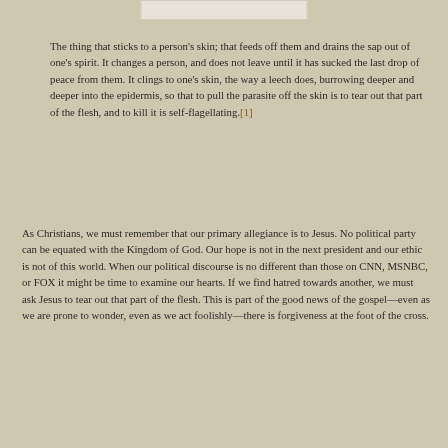[Figure (other): Top portion of an image, partially cropped at the top of the page]
The thing that sticks to a person's skin; that feeds off them and drains the sap out of one's spirit. It changes a person, and does not leave until it has sucked the last drop of peace from them. It clings to one's skin, the way a leech does, burrowing deeper and deeper into the epidermis, so that to pull the parasite off the skin is to tear out that part of the flesh, and to kill it is self-flagellating.[1]
As Christians, we must remember that our primary allegiance is to Jesus. No political party can be equated with the Kingdom of God. Our hope is not in the next president and our ethic is not of this world. When our political discourse is no different than those on CNN, MSNBC, or FOX it might be time to examine our hearts. If we find hatred towards another, we must ask Jesus to tear out that part of the flesh. This is part of the good news of the gospel—even as we are prone to wonder, even as we act foolishly—there is forgiveness at the foot of the cross.